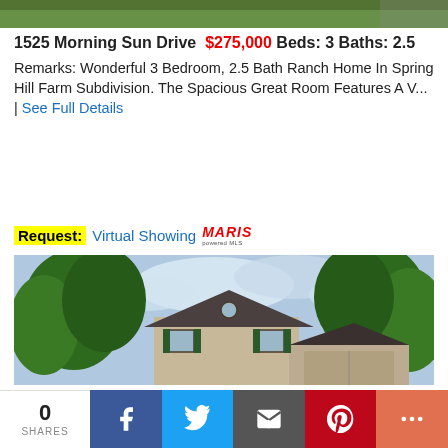[Figure (photo): Top partial photo of a green lawn/yard area]
1525 Morning Sun Drive  $275,000  Beds: 3  Baths: 2.5
Remarks: Wonderful 3 Bedroom, 2.5 Bath Ranch Home In Spring Hill Farm Subdivision. The Spacious Great Room Features A V... | See Full Details
Request: Virtual Showing MARIS
[Figure (photo): Exterior photo of a two-story beige/tan house with dark roof and shutters, surrounded by large green trees, cloudy sky]
0 SHARES  [Facebook] [Twitter] [Email] [Pinterest] [More]